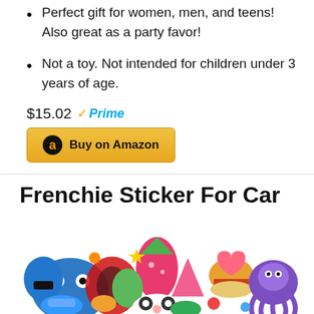Perfect gift for women, men, and teens! Also great as a party favor!
Not a toy. Not intended for children under 3 years of age.
$15.02 ✓Prime
Buy on Amazon
Frenchie Sticker For Car
[Figure (photo): A pile of colorful cartoon stickers featuring animals, food, and various cute characters including a panda, octopus, strawberry, and more.]